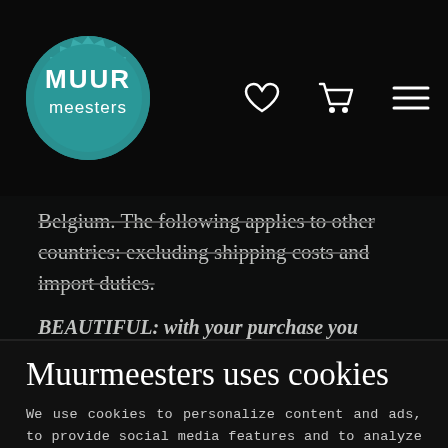[Figure (logo): Muurmeesters teal wax seal logo with white text MUUR meesters]
Belgium. The following applies to other countries: excluding shipping costs and import duties.
BEAUTIFUL: with your purchase you support the Van Gogh Museum Amsterdam ♥
Muurmeesters uses cookies
We use cookies to personalize content and ads, to provide social media features and to analyze our website traffic. We also share information about your use of our site with our partners for social media, advertising and analysis. These partners may combine this data with other information that you have provided to them or that they have collected from your use of their services